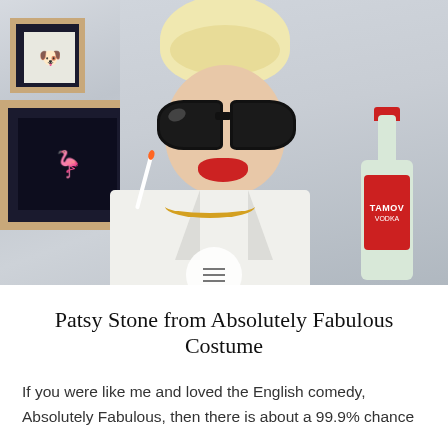[Figure (photo): A woman dressed as Patsy Stone from Absolutely Fabulous: blonde updo hair, oversized black sunglasses, red lips, white blazer, gold chain necklace, holding a cigarette in one hand and a bottle of Tamova Vodka in the other. Colorful framed artworks are visible on the wall behind her.]
Patsy Stone from Absolutely Fabulous Costume
If you were like me and loved the English comedy, Absolutely Fabulous, then there is about a 99.9% chance